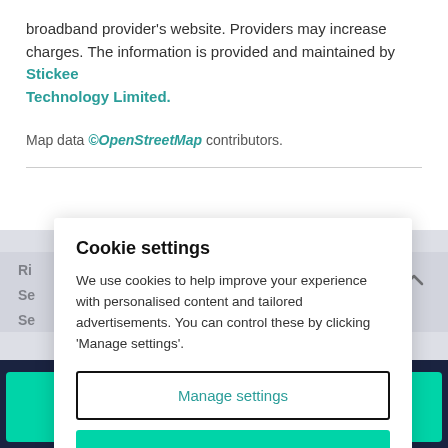broadband provider's website. Providers may increase charges. The information is provided and maintained by Stickee Technology Limited.
Map data ©OpenStreetMap contributors.
Cookie settings
We use cookies to help improve your experience with personalised content and tailored advertisements. You can control these by clicking 'Manage settings'.
Manage settings
Allow all cookies
Email agent
Call agent